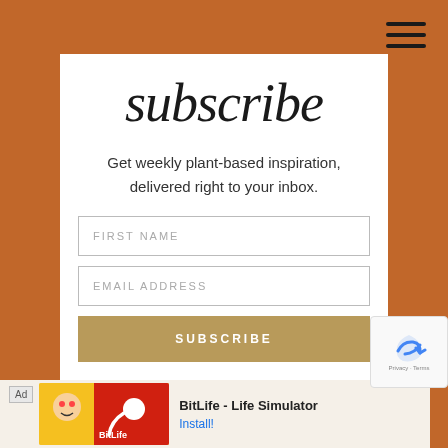subscribe
Get weekly plant-based inspiration, delivered right to your inbox.
[Figure (screenshot): Subscribe form with FIRST NAME input field, EMAIL ADDRESS input field, and a SUBSCRIBE button in golden/tan color]
[Figure (screenshot): Ad banner at bottom: BitLife - Life Simulator app ad with Install! call to action]
[Figure (screenshot): reCAPTCHA widget overlay in bottom right corner showing Privacy + Terms text]